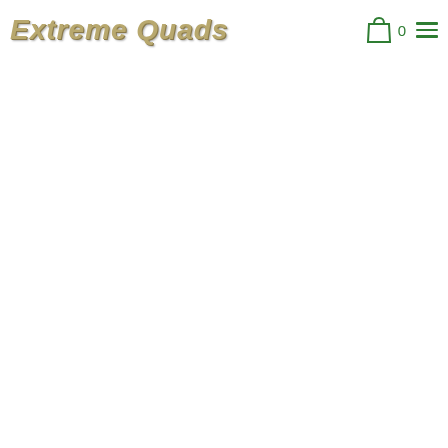[Figure (logo): Extreme Quads logo — italic bold tan/khaki metallic text with drop shadow]
[Figure (other): Shopping bag icon (green outline) with number 0 beside it, and a hamburger menu icon (three green horizontal lines) to the right]